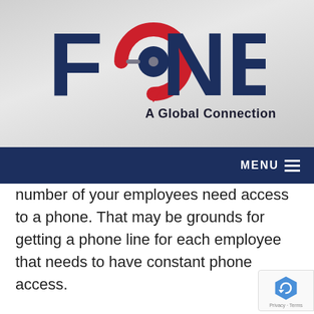[Figure (logo): FONEX logo with red circular arrow icon and dark navy text, tagline 'A Global Connection']
MENU
number of your employees need access to a phone. That may be grounds for getting a phone line for each employee that needs to have constant phone access.
For bigger businesses, businesses with several locations, or businesses that must focus on the customer experience, certain tools may be needed. These tools might be